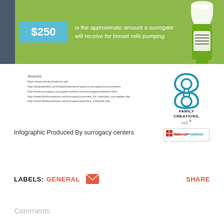[Figure (infographic): Green infographic banner with a dark teal left bar. A cyan/blue box displays '$250' and text says 'is the approximate amount a surrogate will receive for breast milk pumping'. A breast milk bottle illustration is on the right.]
Sources:
https://www.familycreations.net/
http://pktandertility.com/hope/treatments-options-surrogacy/surromothers
http://www.surrogacy-surrogate-mothers.com/surrogacy/statistics.html
http://www.familycreations.net/surrogacy/overview_for_intended_surrogates.php
http://www.familycreations.net/surrogacy/payment_schedule.php
[Figure (logo): Family Creations LLC logo with a stylized figure-8/infinity symbol above the text 'FAMILY CREATIONS, LLC' and a NationalPositions logo below.]
Infographic Produced By surrogacy centers
LABELS: GENERAL
SHARE
Comments